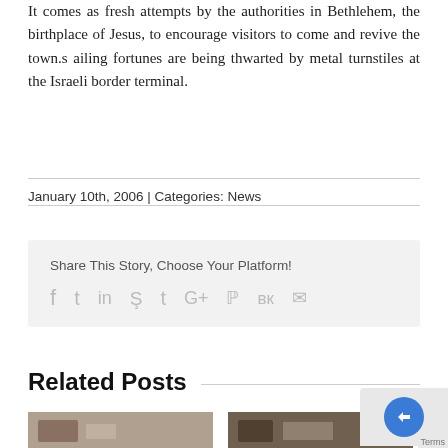It comes as fresh attempts by the authorities in Bethlehem, the birthplace of Jesus, to encourage visitors to come and revive the town.s ailing fortunes are being thwarted by metal turnstiles at the Israeli border terminal.
January 10th, 2006 | Categories: News
Share This Story, Choose Your Platform!
[Figure (infographic): Social sharing icons: Facebook, Twitter, LinkedIn, Reddit, Tumblr, Google+, Pinterest, VK, Email]
Related Posts
[Figure (photo): Thumbnail photo showing group of people]
[Figure (photo): Thumbnail photo showing group of people]